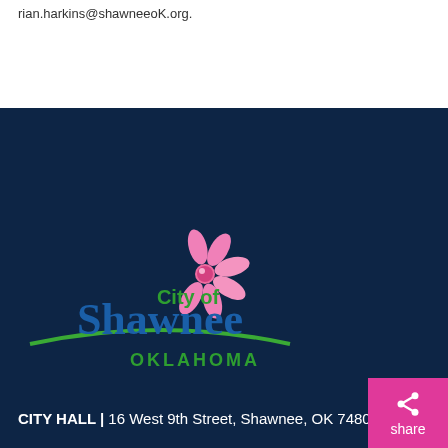rian.harkins@shawneeoK.org.
[Figure (logo): City of Shawnee Oklahoma logo with pink flower and green hill]
CITY HALL | 16 West 9th Street, Shawnee, OK 74801-6812
POWERED BY Revize | Login
CITY CONTACTS